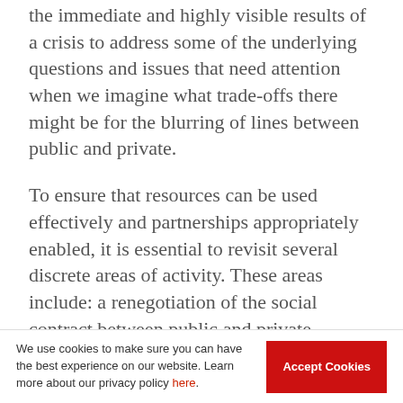the immediate and highly visible results of a crisis to address some of the underlying questions and issues that need attention when we imagine what trade-offs there might be for the blurring of lines between public and private.
To ensure that resources can be used effectively and partnerships appropriately enabled, it is essential to revisit several discrete areas of activity. These areas include: a renegotiation of the social contract between public and private spheres: the donor logic of technology
We use cookies to make sure you can have the best experience on our website. Learn more about our privacy policy here.